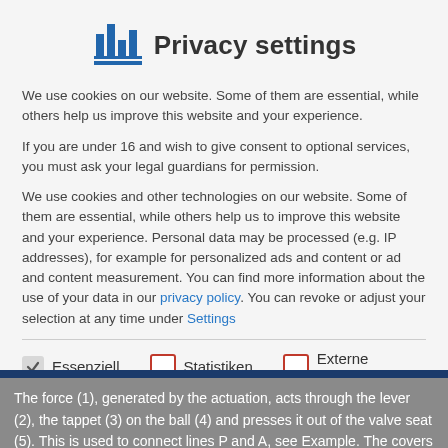[Figure (logo): IHI bar chart style logo in blue, consisting of vertical bars of different heights with a horizontal blue line at base]
Privacy settings
We use cookies on our website. Some of them are essential, while others help us improve this website and your experience.
If you are under 16 and wish to give consent to optional services, you must ask your legal guardians for permission.
We use cookies and other technologies on our website. Some of them are essential, while others help us to improve this website and your experience. Personal data may be processed (e.g. IP addresses), for example for personalized ads and content or ad and content measurement. You can find more information about the use of your data in our privacy policy. You can revoke or adjust your selection at any time under Settings
Essenziell
Statistiken
Externe Medien
The force (1), generated by the actuation, acts through the lever (2), the tappet (3) on the ball (4) and presses it out of the valve seat (5). This is used to connect lines P and A, see Example. The covers (6) support the flange